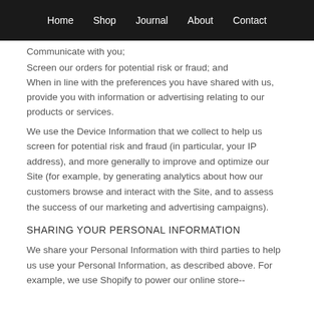Home  Shop  Journal  About  Contact
Communicate with you;
Screen our orders for potential risk or fraud; and
When in line with the preferences you have shared with us, provide you with information or advertising relating to our products or services.
We use the Device Information that we collect to help us screen for potential risk and fraud (in particular, your IP address), and more generally to improve and optimize our Site (for example, by generating analytics about how our customers browse and interact with the Site, and to assess the success of our marketing and advertising campaigns).
SHARING YOUR PERSONAL INFORMATION
We share your Personal Information with third parties to help us use your Personal Information, as described above. For example, we use Shopify to power our online store--